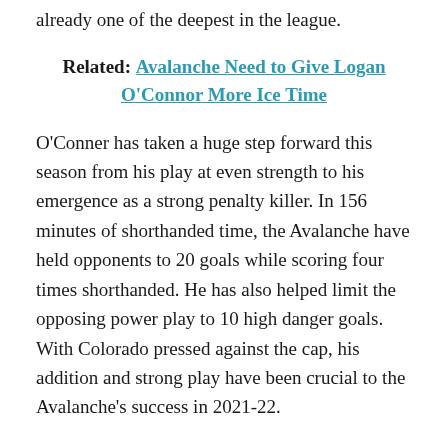already one of the deepest in the league.
Related: Avalanche Need to Give Logan O'Connor More Ice Time
O'Conner has taken a huge step forward this season from his play at even strength to his emergence as a strong penalty killer. In 156 minutes of shorthanded time, the Avalanche have held opponents to 20 goals while scoring four times shorthanded. He has also helped limit the opposing power play to 10 high danger goals. With Colorado pressed against the cap, his addition and strong play have been crucial to the Avalanche's success in 2021-22.
3) Alex Goligoski, Minnesota Wild